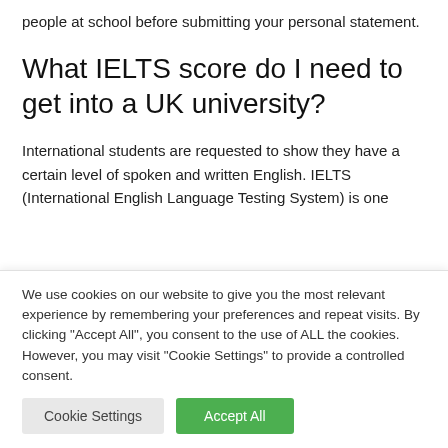people at school before submitting your personal statement.
What IELTS score do I need to get into a UK university?
International students are requested to show they have a certain level of spoken and written English. IELTS (International English Language Testing System) is one
We use cookies on our website to give you the most relevant experience by remembering your preferences and repeat visits. By clicking “Accept All”, you consent to the use of ALL the cookies. However, you may visit “Cookie Settings” to provide a controlled consent.
Cookie Settings
Accept All